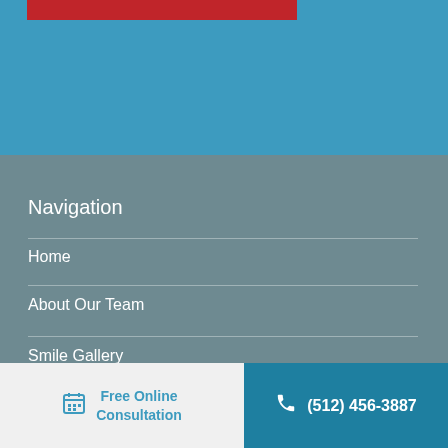[Figure (other): Top blue banner with a red bar at the top left]
Navigation
Home
About Our Team
Smile Gallery
New Patient Info
Free Online Consultation
(512) 456-3887